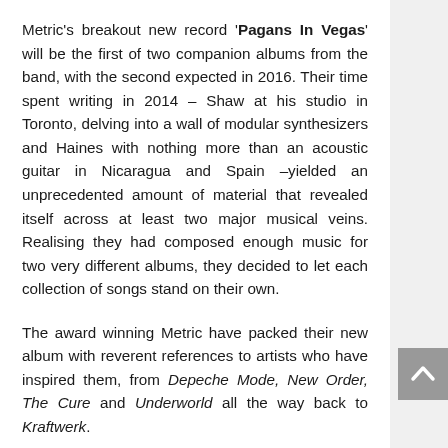Metric's breakout new record 'Pagans In Vegas' will be the first of two companion albums from the band, with the second expected in 2016. Their time spent writing in 2014 – Shaw at his studio in Toronto, delving into a wall of modular synthesizers and Haines with nothing more than an acoustic guitar in Nicaragua and Spain –yielded an unprecedented amount of material that revealed itself across at least two major musical veins. Realising they had composed enough music for two very different albums, they decided to let each collection of songs stand on their own.
The award winning Metric have packed their new album with reverent references to artists who have inspired them, from Depeche Mode, New Order, The Cure and Underworld all the way back to Kraftwerk.
Frontwoman Emily Haines explains that it was about finding "the romance of another time without falling